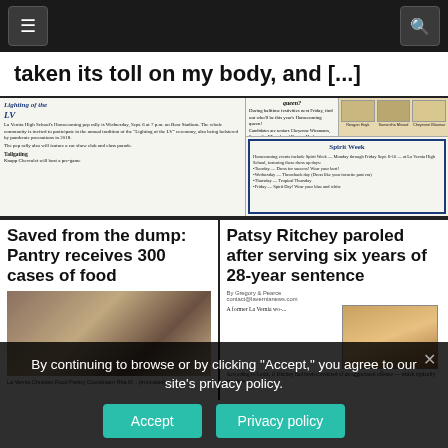Navigation bar with menu and search buttons
taken its toll on my body, and [...]
[Figure (screenshot): Newspaper front page section showing La Vernia High School Homecoming content including 'Lighting of the LV' pep rally, Homecoming queen candidates, photos of queen candidates (Reagan Hayk, Samantha Minard, Cheyenne Bloomur), and Spirit Week schedule.]
Saved from the dump: Pantry receives 300 cases of food
[Figure (photo): Photo of people at a food pantry with shelving and food items visible.]
Patsy Ritchey paroled after serving six years of 28-year sentence
[Figure (photo): Mugshot/headshot photo of Patsy Ritchey, a woman with glasses and blonde hair.]
By continuing to browse or by clicking "Accept," you agree to our site's privacy policy.